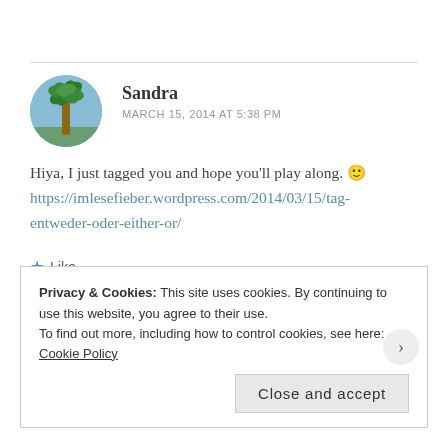Sandra
MARCH 15, 2014 AT 5:38 PM
Hiya, I just tagged you and hope you'll play along. 🙂 https://imlesefieber.wordpress.com/2014/03/15/tag-entweder-oder-either-or/
★ Like
Privacy & Cookies: This site uses cookies. By continuing to use this website, you agree to their use.
To find out more, including how to control cookies, see here: Cookie Policy
Close and accept